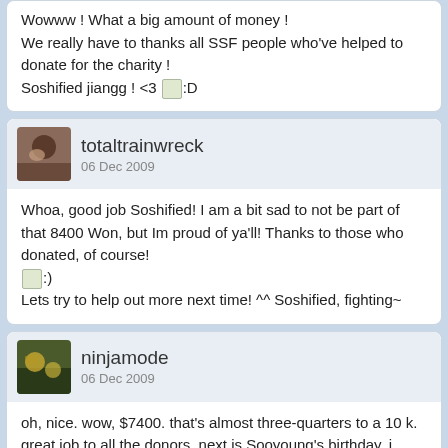Wowww ! What a big amount of money !
We really have to thanks all SSF people who've helped to donate for the charity !
Soshified jiangg ! <3 :D
totaltrainwreck
06 Dec 2009
Whoa, good job Soshified! I am a bit sad to not be part of that 8400 Won, but Im proud of ya'll! Thanks to those who donated, of course! :)
Lets try to help out more next time! ^^ Soshified, fighting~
ninjamode
06 Dec 2009
oh, nice. wow, $7400. that's almost three-quarters to a 10 k. great job to all the donors. next is Sooyoung's birthday, i think.
« Prev    Next »
Full Version